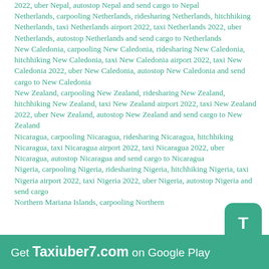2022, uber Nepal, autostop Nepal and send cargo to Nepal Netherlands, carpooling Netherlands, ridesharing Netherlands, hitchhiking Netherlands, taxi Netherlands airport 2022, taxi Netherlands 2022, uber Netherlands, autostop Netherlands and send cargo to Netherlands New Caledonia, carpooling New Caledonia, ridesharing New Caledonia, hitchhiking New Caledonia, taxi New Caledonia airport 2022, taxi New Caledonia 2022, uber New Caledonia, autostop New Caledonia and send cargo to New Caledonia New Zealand, carpooling New Zealand, ridesharing New Zealand, hitchhiking New Zealand, taxi New Zealand airport 2022, taxi New Zealand 2022, uber New Zealand, autostop New Zealand and send cargo to New Zealand Nicaragua, carpooling Nicaragua, ridesharing Nicaragua, hitchhiking Nicaragua, taxi Nicaragua airport 2022, taxi Nicaragua 2022, uber Nicaragua, autostop Nicaragua and send cargo to Nicaragua Nigeria, carpooling Nigeria, ridesharing Nigeria, hitchhiking Nigeria, taxi Nigeria airport 2022, taxi Nigeria 2022, uber Nigeria, autostop Nigeria and send cargo to Nigeria Northern Mariana Islands, carpooling Northern
Get Taxiuber7.com on Google Play